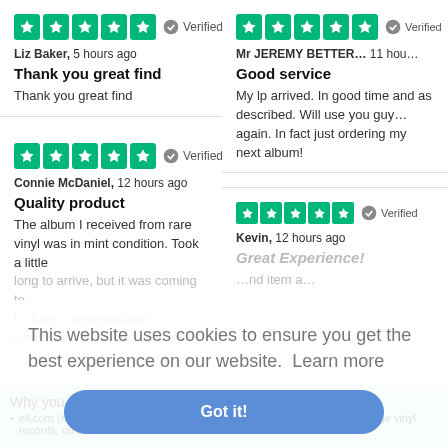[Figure (screenshot): Trustpilot-style review page with two columns of customer reviews, a cookie consent banner overlay, and a green footer bar with 'Why you should buy from...' section.]
★★★★★ Verified
Liz Baker, 5 hours ago
Thank you great find
Thank you great find
★★★★★ Verified
Mr JEREMY BETTER... 11 hours ago
Good service
My lp arrived. In good time and as described. Will use you guys again. In fact just ordering my next album!
★★★★★ Verified
Connie McDaniel, 12 hours ago
Quality product
The album I received from rare vinyl was in mint condition. Took a little long to arrive, but it was coming to... from... as described. would take 3 weeks to arrive.
★★★★ Verified
Kevin, 12 hours ago
Great Experience!
...nd item a...
This website uses cookies to ensure you get the best experience on our website. Learn more
Got it!
Why you should buy from
ell.com (also known as Esprit) has been the world's biggest and best vintage vinyl records, rare CDs and music memorabilia since 1995